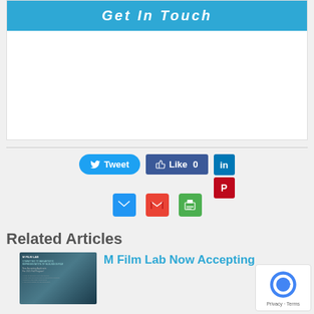[Figure (screenshot): Blue banner with 'Get In Touch' text in italic white bold letters]
[Figure (infographic): Social sharing buttons: Tweet (Twitter), Like 0 (Facebook), LinkedIn, Pinterest icons]
[Figure (infographic): Email, Gmail, and Print social sharing icon buttons]
Related Articles
[Figure (photo): Dark teal/gray promotional image for M Film Lab with text about accepting applicants for 2021 Fall Program]
M Film Lab Now Accepting